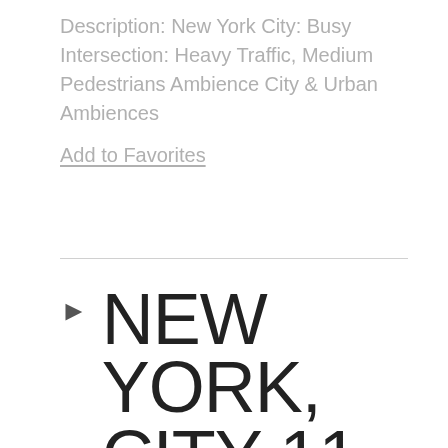Description: New York City: Busy Intersection: Heavy Traffic, Medium Pedestrians Ambience City & Urban Ambiences
Add to Favorites
NEW YORK, CITY 11
by Soundideas  |  wav  |